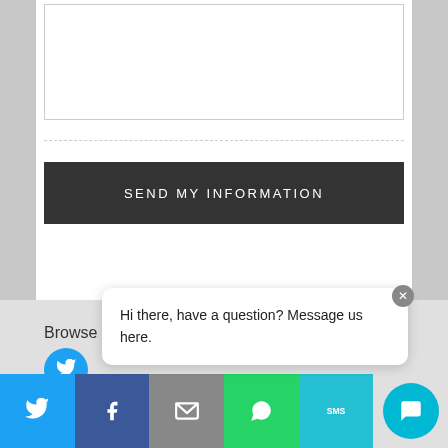[Figure (screenshot): A web form text input area (empty white box)]
[Figure (screenshot): A dark grey button labeled SEND MY INFORMATION]
Browse
Hi there, have a question? Message us here.
[Figure (infographic): Social sharing bar with Twitter, Facebook, Email, WhatsApp, SMS icons and a teal chat FAB button]